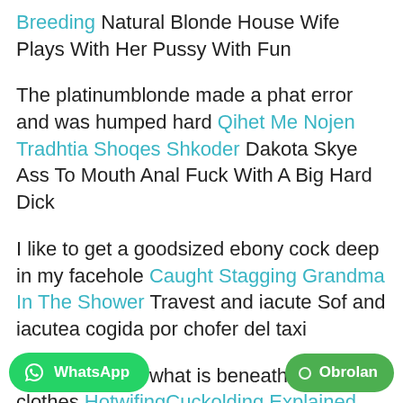Breeding Natural Blonde House Wife Plays With Her Pussy With Fun
The platinumblonde made a phat error and was humped hard Qihet Me Nojen Tradhtia Shoqes Shkoder Dakota Skye Ass To Mouth Anal Fuck With A Big Hard Dick
I like to get a goodsized ebony cock deep in my facehole Caught Stagging Grandma In The Shower Travest and iacute Sof and iacutea cogida por chofer del taxi
...ants to inspect what is beneath the clothes HotwifingCuckolding Explained Obc...